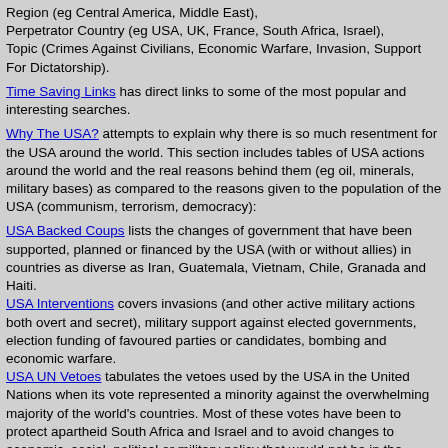Region (eg Central America, Middle East),
Perpetrator Country (eg USA, UK, France, South Africa, Israel),
Topic (Crimes Against Civilians, Economic Warfare, Invasion, Support For Dictatorship).
Time Saving Links has direct links to some of the most popular and interesting searches.
Why The USA? attempts to explain why there is so much resentment for the USA around the world. This section includes tables of USA actions around the world and the real reasons behind them (eg oil, minerals, military bases) as compared to the reasons given to the population of the USA (communism, terrorism, democracy):
USA Backed Coups lists the changes of government that have been supported, planned or financed by the USA (with or without allies) in countries as diverse as Iran, Guatemala, Vietnam, Chile, Granada and Haiti.
USA Interventions covers invasions (and other active military actions both overt and secret), military support against elected governments, election funding of favoured parties or candidates, bombing and economic warfare.
USA UN Vetoes tabulates the vetoes used by the USA in the United Nations when its vote represented a minority against the overwhelming majority of the world's countries. Most of these votes have been to protect apartheid South Africa and Israel and to avoid changes to economic, social, political or military policy that would not be in the interests of the USA or its companies. The USA has used its veto more than any other veto-bearing country.
USA Companies looks at how USA companies take advantage of legal situations in places with unelected governments to make profits.